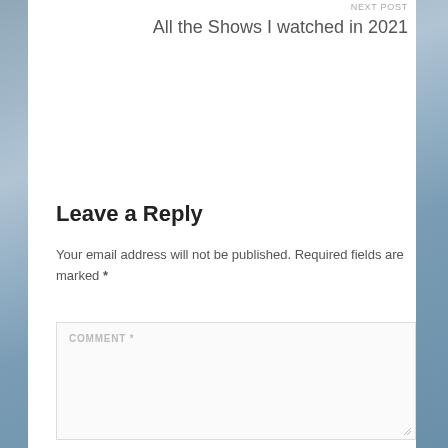NEXT POST
All the Shows I watched in 2021
Leave a Reply
Your email address will not be published. Required fields are marked *
COMMENT *